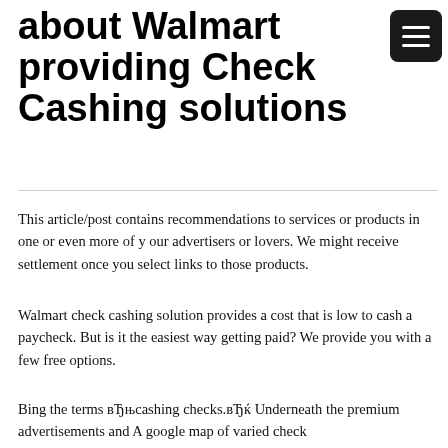about Walmart providing Check Cashing solutions
This article/post contains recommendations to services or products in one or even more of y our advertisers or lovers. We might receive settlement once you select links to those products.
Walmart check cashing solution provides a cost that is low to cash a paycheck. But is it the easiest way getting paid? We provide you with a few free options.
Bing the terms вЂњcashing checks.вЂќ Underneath the premium advertisements and A google map of varied check